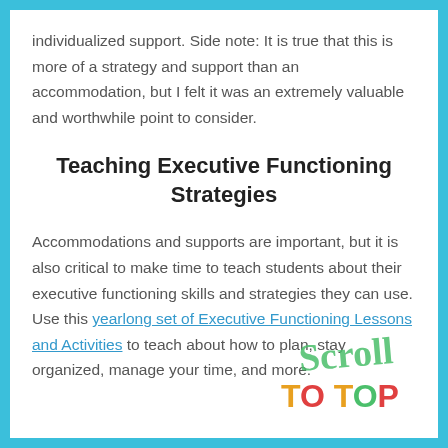individualized support. Side note: It is true that this is more of a strategy and support than an accommodation, but I felt it was an extremely valuable and worthwhile point to consider.
Teaching Executive Functioning Strategies
Accommodations and supports are important, but it is also critical to make time to teach students about their executive functioning skills and strategies they can use. Use this yearlong set of Executive Functioning Lessons and Activities to teach about how to plan, stay organized, manage your time, and more.